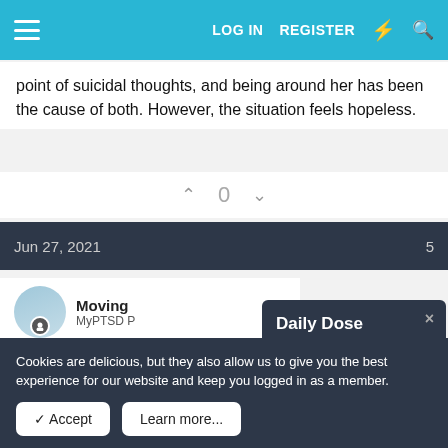LOG IN  REGISTER
point of suicidal thoughts, and being around her has been the cause of both. However, the situation feels hopeless.
0
Jun 27, 2021
Moving
MyPTSD P
Can you move ou
[Figure (screenshot): Daily Dose modal popup with title 'Daily Dose', description text, and CLICK TO SUBSCRIBE button]
Cookies are delicious, but they also allow us to give you the best experience for our website and keep you logged in as a member.
✓ Accept   Learn more...